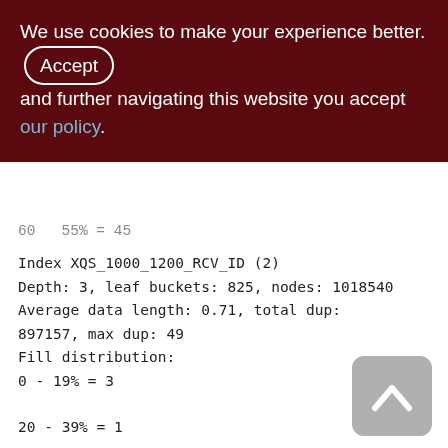We use cookies to make your experience better. By accepting and further navigating this website you accept our policy.
60   55% = 45
Index XQS_1000_1200_RCV_ID (2)
Depth: 3, leaf buckets: 825, nodes: 1018540
Average data length: 0.71, total dup: 897157, max dup: 49
Fill distribution:
0 - 19% = 3
20 - 39% = 1
40 - 59% = 163
60 - 79% = 26
80 - 99% = 632